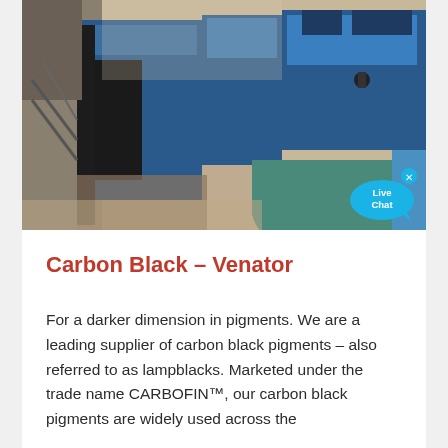[Figure (photo): Industrial machinery photograph showing large blue metal equipment/machinery with pipes and cylindrical components in a dusty industrial setting.]
Carbon Black – Venator
For a darker dimension in pigments. We are a leading supplier of carbon black pigments – also referred to as lampblacks. Marketed under the trade name CARBOFIN™, our carbon black pigments are widely used across the